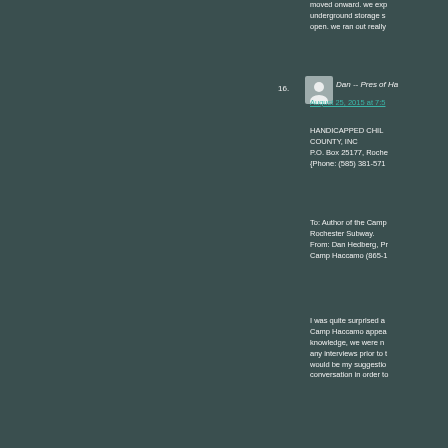moved onward. we exp underground storage s open. we ran out really
16. Dan -- Pres of Ha
August 25, 2015 at 7:5
HANDICAPPED CHIL COUNTY, INC
P.O. Box 25177, Roche
{Phone: (585) 381-571
To: Author of the Camp Rochester Subway.
From: Dan Hedberg, Pr Camp Haccamo (865-1
I was quite surprised a Camp Haccamo appea knowledge, we were n any interviews prior to t would be my suggestio conversation in order to